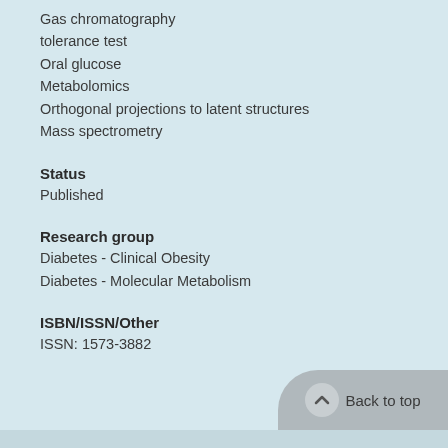Gas chromatography
tolerance test
Oral glucose
Metabolomics
Orthogonal projections to latent structures
Mass spectrometry
Status
Published
Research group
Diabetes - Clinical Obesity
Diabetes - Molecular Metabolism
ISBN/ISSN/Other
ISSN: 1573-3882